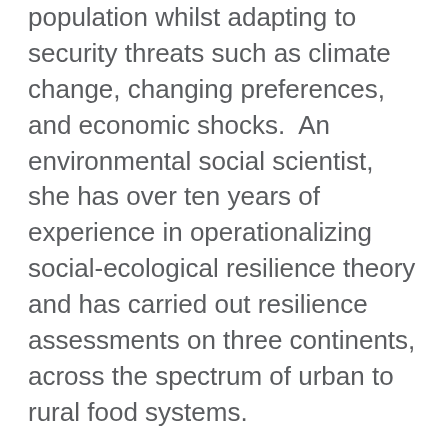population whilst adapting to security threats such as climate change, changing preferences, and economic shocks.  An environmental social scientist, she has over ten years of experience in operationalizing social-ecological resilience theory and has carried out resilience assessments on three continents, across the spectrum of urban to rural food systems.
This series, which went live in the Spring of 2021, approaches the topic of resilience from two aspects: Introducing the Principles of Resilience and then using that knowledge to